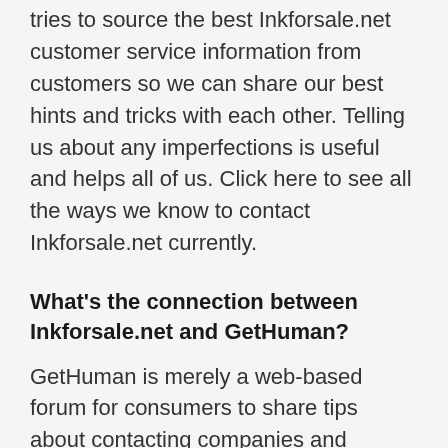tries to source the best Inkforsale.net customer service information from customers so we can share our best hints and tricks with each other. Telling us about any imperfections is useful and helps all of us. Click here to see all the ways we know to contact Inkforsale.net currently.
What's the connection between Inkforsale.net and GetHuman?
GetHuman is merely a web-based forum for consumers to share tips about contacting companies and solving customer care problems. GetHuman does not answer Inkforsale.net's emails, work as part of its customer service operations or have any other connection of any kind. We are here to help customers like you by simply making information that